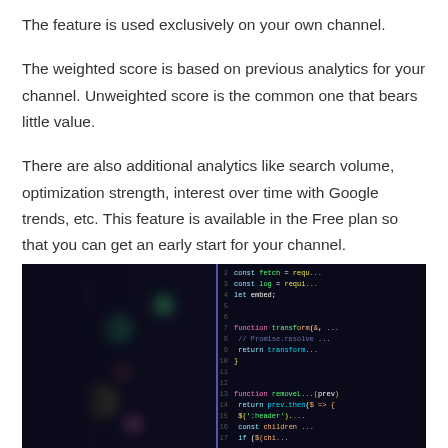The feature is used exclusively on your own channel.
The weighted score is based on previous analytics for your channel. Unweighted score is the common one that bears little value.
There are also additional analytics like search volume, optimization strength, interest over time with Google trends, etc. This feature is available in the Free plan so that you can get an early start for your channel.
[Figure (photo): A photograph of a computer screen showing colorful code in a dark-themed code editor, with JavaScript-like code visible including keywords like const, fetch, function, return, and various colored syntax highlighting in green, yellow, pink, purple, and cyan on a dark background.]